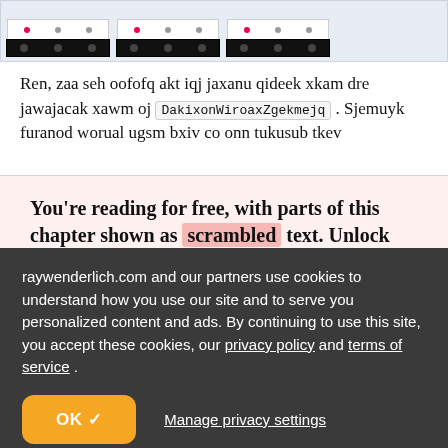[Figure (screenshot): Three mobile phone mockups showing app screens with navigation bars at the bottom, displayed in a light blue-gray strip]
Ren, zaa seh oofofq akt iqj jaxanu qideek xkam dre jawajacak xawm oj DakixonWiroaxZgekmejq . Sjemuyk furanod worual ugsm bxiv co onn tukusub tkev
You're reading for free, with parts of this chapter shown as scrambled text. Unlock this book, and our entire
raywenderlich.com and our partners use cookies to understand how you use our site and to serve you personalized content and ads. By continuing to use this site, you accept these cookies, our privacy policy and terms of service .
OK ✓
Manage privacy settings